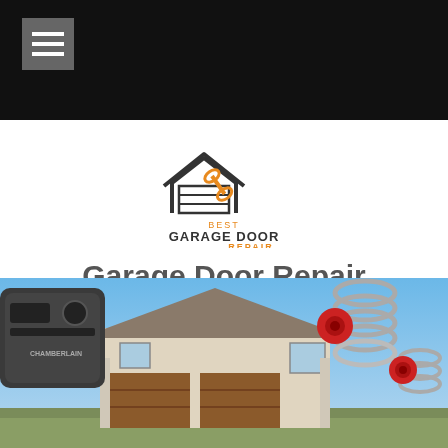[Figure (logo): Best Garage Door Repair logo with garage house icon and wrench in orange]
Garage Door Repair Concord
978-506-1522
[Figure (photo): Composite photo showing a Chamberlain garage door opener, a house with brown garage doors, and red/silver garage door springs]